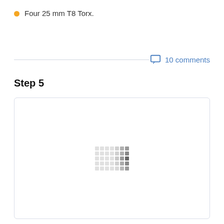Four 25 mm T8 Torx.
10 comments
Step 5
[Figure (photo): Loading placeholder image with dot pattern indicating image is loading]